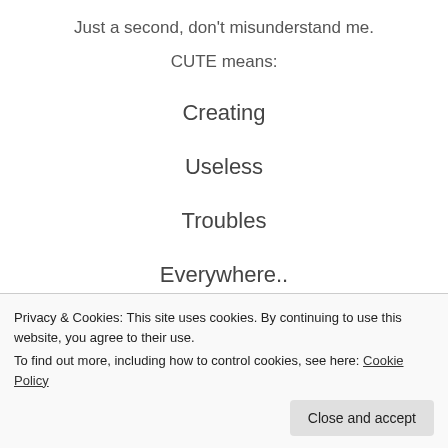Just a second, don't misunderstand me.
CUTE means:
Creating
Useless
Troubles
Everywhere..
Hey U Know
Privacy & Cookies: This site uses cookies. By continuing to use this website, you agree to their use. To find out more, including how to control cookies, see here: Cookie Policy
If she accepts den its your luck,